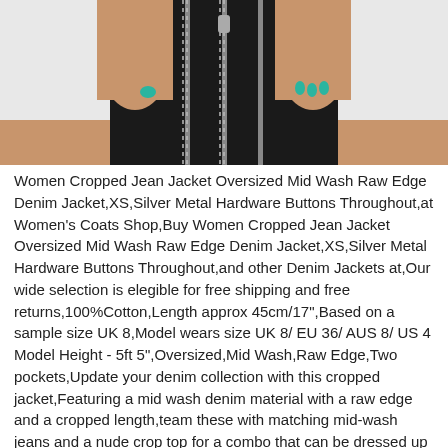[Figure (photo): Cropped photo showing a woman's lower torso and hands wearing a black leather mini skirt with silver zippers. She has teal/turquoise nail polish and a teal ring on her right hand.]
Women Cropped Jean Jacket Oversized Mid Wash Raw Edge Denim Jacket,XS,Silver Metal Hardware Buttons Throughout,at Women's Coats Shop,Buy Women Cropped Jean Jacket Oversized Mid Wash Raw Edge Denim Jacket,XS,Silver Metal Hardware Buttons Throughout,and other Denim Jackets at,Our wide selection is elegible for free shipping and free returns,100%Cotton,Length approx 45cm/17",Based on a sample size UK 8,Model wears size UK 8/ EU 36/ AUS 8/ US 4 Model Height - 5ft 5",Oversized,Mid Wash,Raw Edge,Two pockets,Update your denim collection with this cropped jacket,Featuring a mid wash denim material with a raw edge and a cropped length,team these with matching mid-wash jeans and a nude crop top for a combo that can be dressed up or down,Easy-care,Department: Womens,ASIN: B083GK9MW3,Date First Available: January 3,2020